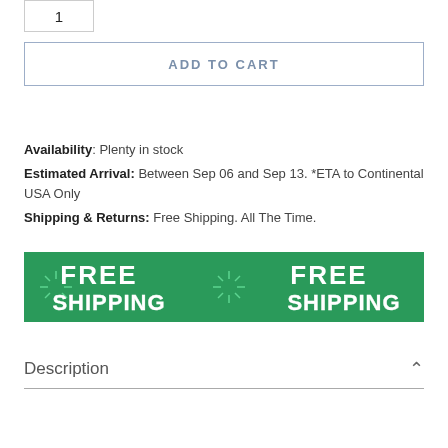1
ADD TO CART
Availability: Plenty in stock
Estimated Arrival: Between Sep 06 and Sep 13. *ETA to Continental USA Only
Shipping & Returns: Free Shipping. All The Time.
[Figure (illustration): Green banner with white bold text reading FREE SHIPPING repeated twice, with decorative firework/sunburst graphics]
Description